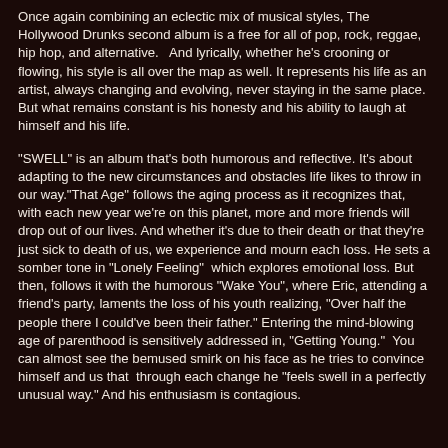Once again combining an eclectic mix of musical styles, The Hollywood Drunks second album is a free for all of pop, rock, reggae, hip hop, and alternative.   And lyrically, whether he's crooning or flowing, his style is all over the map as well. It represents his life as an artist, always changing and evolving, never staying in the same place. But what remains constant is his honesty and his ability to laugh at himself and his life.
"SWELL" is an album that's both humorous and reflective. It's about adapting to the new circumstances and obstacles life likes to throw in our way."That Age" follows the aging process as it recognizes that, with each new year we're on this planet, more and more friends will drop out of our lives. And whether it's due to their death or that they're just sick to death of us, we experience and mourn each loss. He sets a somber tone in "Lonely Feeling"  which explores emotional loss. But then, follows it with the humorous "Wake You", where Eric, attending a friend's party, laments the loss of his youth realizing, "Over half the people there I could've been their father." Entering the mind-blowing age of parenthood is sensitively addressed in, "Getting Young."  You can almost see the bemused smirk on his face as he tries to convince himself and us that  through each change he "feels swell in a perfectly unusual way." And his enthusiasm is contagious.